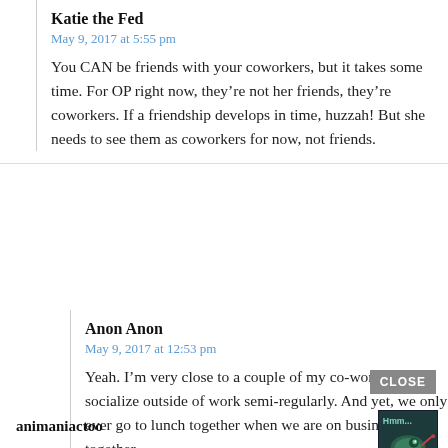Katie the Fed
May 9, 2017 at 5:55 pm
You CAN be friends with your coworkers, but it takes some time. For OP right now, they’re not her friends, they’re coworkers. If a friendship develops in time, huzzah! But she needs to see them as coworkers for now, not friends.
Anon Anon
May 9, 2017 at 12:53 pm
Yeah. I’m very close to a couple of my co-workers. We socialize outside of work semi-regularly. And yet, we only ever go to lunch together when we are on business trips together.
animaniactoo